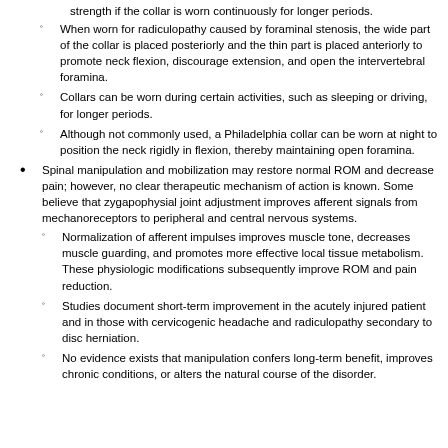strength if the collar is worn continuously for longer periods.
When worn for radiculopathy caused by foraminal stenosis, the wide part of the collar is placed posteriorly and the thin part is placed anteriorly to promote neck flexion, discourage extension, and open the intervertebral foramina.
Collars can be worn during certain activities, such as sleeping or driving, for longer periods.
Although not commonly used, a Philadelphia collar can be worn at night to position the neck rigidly in flexion, thereby maintaining open foramina.
Spinal manipulation and mobilization may restore normal ROM and decrease pain; however, no clear therapeutic mechanism of action is known. Some believe that zygapophysial joint adjustment improves afferent signals from mechanoreceptors to peripheral and central nervous systems.
Normalization of afferent impulses improves muscle tone, decreases muscle guarding, and promotes more effective local tissue metabolism. These physiologic modifications subsequently improve ROM and pain reduction.
Studies document short-term improvement in the acutely injured patient and in those with cervicogenic headache and radiculopathy secondary to disc herniation.
No evidence exists that manipulation confers long-term benefit, improves chronic conditions, or alters the natural course of the disorder.